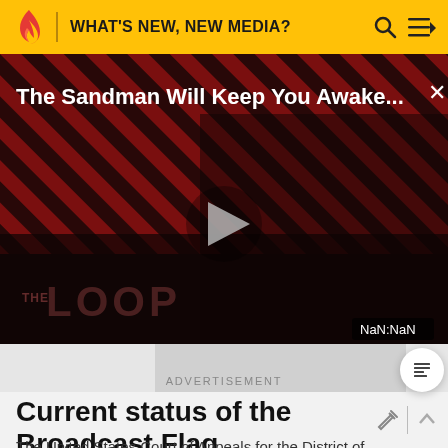WHAT'S NEW, NEW MEDIA?
[Figure (screenshot): Video thumbnail showing 'The Sandman Will Keep You Awake...' with a dark figure against a red and black diagonal stripe background. Shows THE LOOP watermark and NaN:NaN timestamp. Play button visible in center.]
ADVERTISEMENT
Current status of the Broadcast Flag
The United States Court of Appeals for the District of